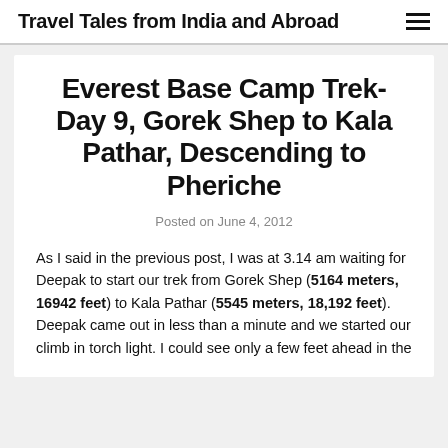Travel Tales from India and Abroad
Everest Base Camp Trek- Day 9, Gorek Shep to Kala Pathar, Descending to Pheriche
Posted on June 4, 2012
As I said in the previous post, I was at 3.14 am waiting for Deepak to start our trek from Gorek Shep (5164 meters, 16942 feet) to Kala Pathar (5545 meters, 18,192 feet). Deepak came out in less than a minute and we started our climb in torch light. I could see only a few feet ahead in the